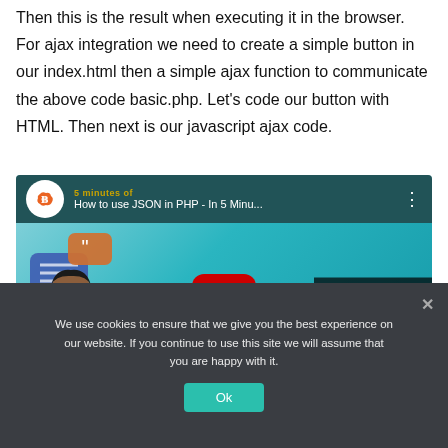Then this is the result when executing it in the browser. For ajax integration we need to create a simple button in our index.html then a simple ajax function to communicate the above code basic.php. Let's code our button with HTML. Then next is our javascript ajax code.
[Figure (screenshot): YouTube video embed thumbnail showing 'How to use JSON in PHP - In 5 Minu...' with a play button, channel icon, person illustration with chat bubbles, and JSON label box on dark background overlay.]
We use cookies to ensure that we give you the best experience on our website. If you continue to use this site we will assume that you are happy with it.